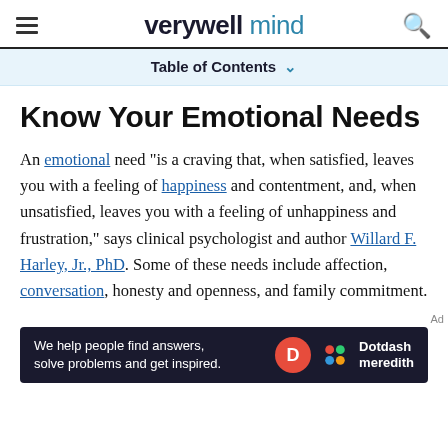verywell mind
Table of Contents
Know Your Emotional Needs
An emotional need "is a craving that, when satisfied, leaves you with a feeling of happiness and contentment, and, when unsatisfied, leaves you with a feeling of unhappiness and frustration," says clinical psychologist and author Willard F. Harley, Jr., PhD. Some of these needs include affection, conversation, honesty and openness, and family commitment.
[Figure (other): Dotdash Meredith advertisement banner: 'We help people find answers, solve problems and get inspired.' with Dotdash Meredith logo]